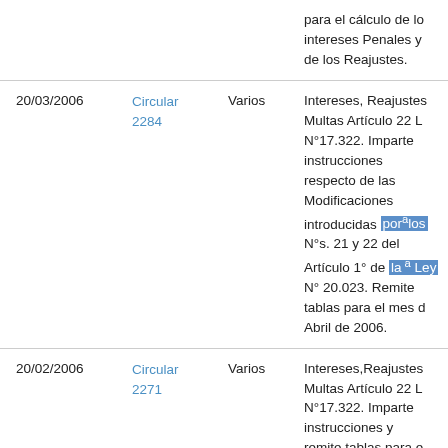| Fecha | Documento | Tipo | Descripción |
| --- | --- | --- | --- |
|  |  |  | para el cálculo de los intereses Penales y de los Reajustes. |
| 20/03/2006 | Circular 2284 | Varios | Intereses, Reajustes y Multas Artículo 22 L N°17.322. Imparte instrucciones respecto de las Modificaciones introducidas por los N°s. 21 y 22 del Artículo 1° de la Ley N° 20.023. Remite tablas para el mes de Abril de 2006. |
| 20/02/2006 | Circular 2271 | Varios | Intereses,Reajustes y Multas Artículo 22 L N°17.322. Imparte instrucciones y remite tablas para el mes de Marzo de |